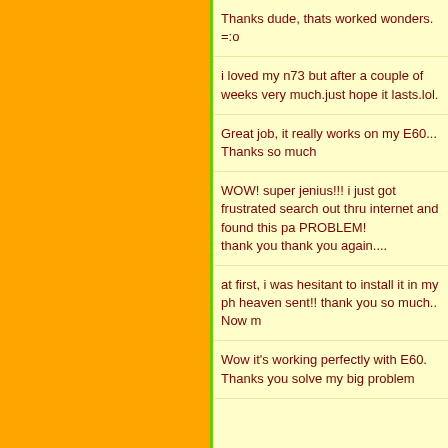Thanks dude, thats worked wonders. =:o
i loved my n73 but after a couple of weeks very much.just hope it lasts.lol.
Great job, it really works on my E60... Thanks so much
WOW! super jenius!!! i just got frustrated search out thru internet and found this pa PROBLEM! thank you thank you again....
at first, i was hesitant to install it in my ph heaven sent!! thank you so much.. Now m
Wow it's working perfectly with E60. Thanks you solve my big problem